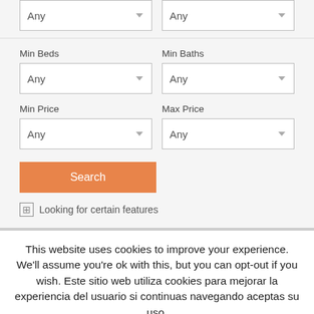[Figure (screenshot): Top partial view of two dropdown selectors with 'Any' values, partially cut off at top of page]
Min Beds
Min Baths
Min Price
Max Price
Search
⊞ Looking for certain features
This website uses cookies to improve your experience. We'll assume you're ok with this, but you can opt-out if you wish. Este sitio web utiliza cookies para mejorar la experiencia del usuario si continuas navegando aceptas su uso.
Accept | Aceptar
Read More | Leer más